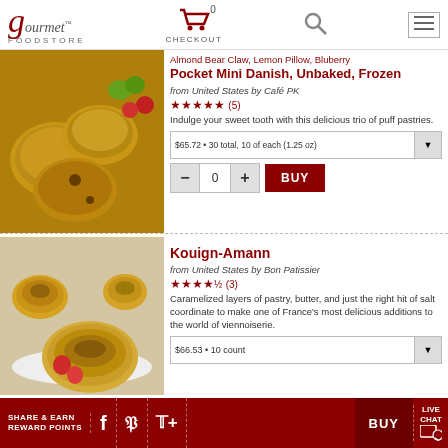Gourmet Foodstore — CHECKOUT 0
Almond Bear Claw, Lemon Pillow, Blueberry Pocket Mini Danish, Unbaked, Frozen
from United States by Café PK
★★★★★ (5)
Indulge your sweet tooth with this delicious trio of puff pastries.
$65.72 • 30 total, 10 of each (1.25 oz)
Kouign-Amann
from United States by Bon Patissier
★★★★½ (3)
Caramelized layers of pastry, butter, and just the right hit of salt coordinate to make one of France's most delicious additions to the world of viennoiserie.
$66.53 • 10 count
SHARE & EARN REWARD POINTS  f  P  t+  BUY  LIVE CHAT